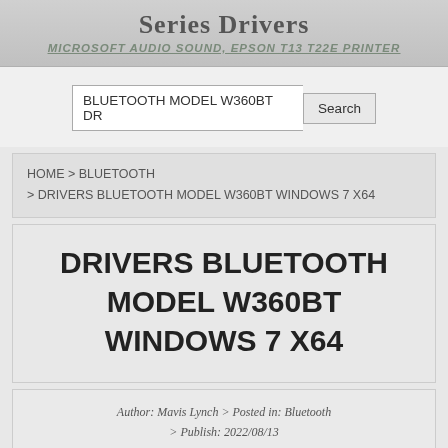Series Drivers
MICROSOFT AUDIO SOUND, EPSON T13 T22E PRINTER
BLUETOOTH MODEL W360BT DR
HOME > BLUETOOTH > DRIVERS BLUETOOTH MODEL W360BT WINDOWS 7 X64
DRIVERS BLUETOOTH MODEL W360BT WINDOWS 7 X64
Author: Mavis Lynch > Posted in: Bluetooth > Publish: 2022/08/13